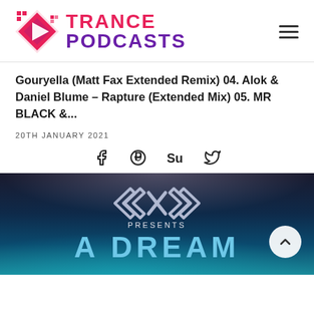[Figure (logo): Trance Podcasts logo with pink diamond/play button icon and magenta/purple text]
Gouryella (Matt Fax Extended Remix) 04. Alok & Daniel Blume – Rapture (Extended Mix) 05. MR BLACK &...
20TH JANUARY 2021
[Figure (infographic): Social sharing icons: Facebook, Pinterest, StumbleUpon, Twitter]
[Figure (photo): Dark space/cosmic themed image with GXD logo (angular diamond shape), PRESENTS text and partial DREAM text in teal blue, with scroll-to-top button]